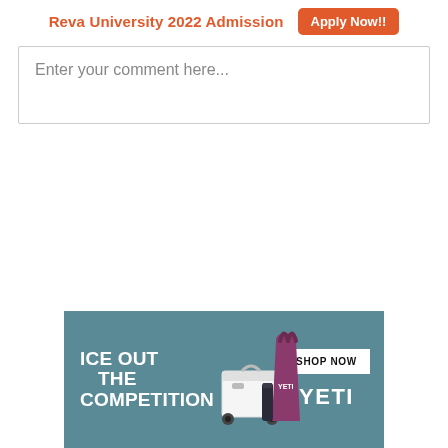Reva University 2022 Admission   Apply Now!!
Enter your comment here...
[Figure (illustration): YETI advertisement banner with text 'ICE OUT THE COMPETITION', product images (cooler, purple tote bag, tumbler, wheel), a 'SHOP NOW' button, and the YETI logo on a teal/blue-grey background.]